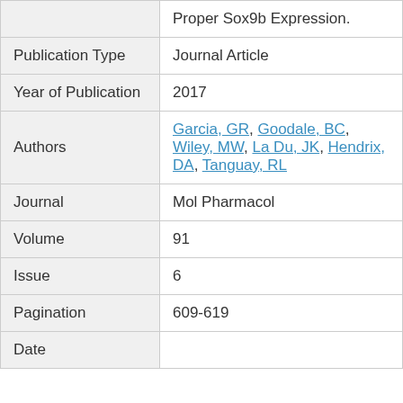|  | Proper Sox9b Expression. |
| Publication Type | Journal Article |
| Year of Publication | 2017 |
| Authors | Garcia, GR, Goodale, BC, Wiley, MW, La Du, JK, Hendrix, DA, Tanguay, RL |
| Journal | Mol Pharmacol |
| Volume | 91 |
| Issue | 6 |
| Pagination | 609-619 |
| Date |  |